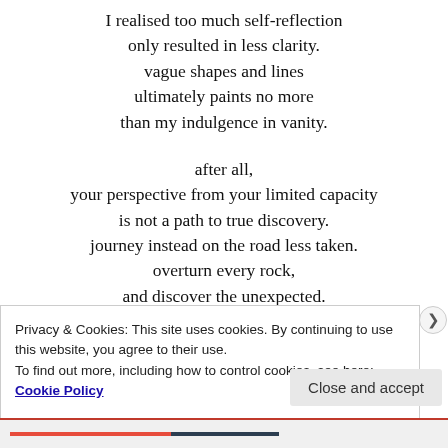I realised too much self-reflection
only resulted in less clarity.
vague shapes and lines
ultimately paints no more
than my indulgence in vanity.

after all,
your perspective from your limited capacity
is not a path to true discovery.
journey instead on the road less taken.
overturn every rock,
and discover the unexpected.
keep companions that will set fire to fallen leaves
Privacy & Cookies: This site uses cookies. By continuing to use this website, you agree to their use.
To find out more, including how to control cookies, see here: Cookie Policy